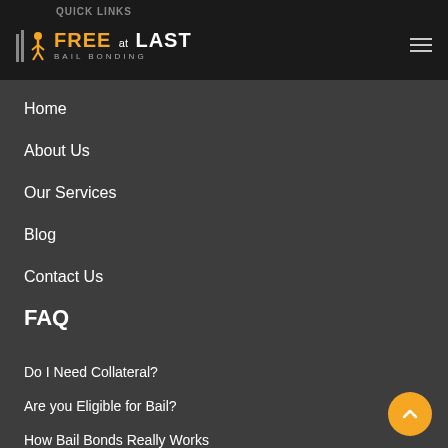QUICK LINKS — Free at Last Bail Bonding logo with hamburger menu
Home
About Us
Our Services
Blog
Contact Us
FAQ
Do I Need Collateral?
Are you Eligible for Bail?
How Bail Bonds Really Works
Think You Might Have a Warrant?